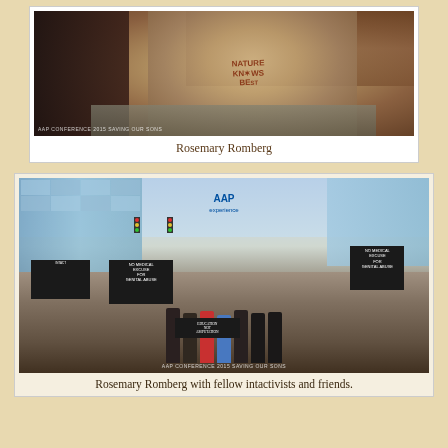[Figure (photo): Photo of Rosemary Romberg seated at a table wearing a grey t-shirt that reads 'NATURE KNOWS BEST', with watermark 'AAP CONFERENCE 2015 SAVING OUR SONS']
Rosemary Romberg
[Figure (photo): Photo of Rosemary Romberg with fellow intactivists and friends holding protest signs outside the AAP Experience conference building, with watermark 'AAP CONFERENCE 2015 SAVING OUR SONS']
Rosemary Romberg with fellow intactivists and friends.